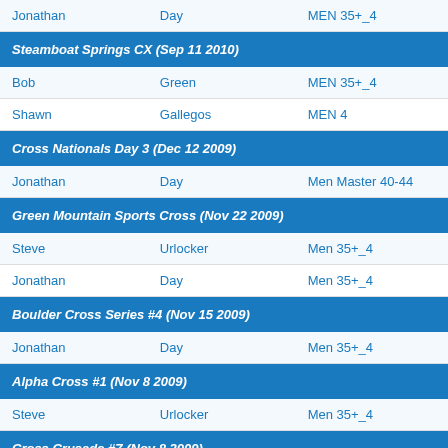| First | Last | Category |
| --- | --- | --- |
| Jonathan | Day | MEN 35+_4 |
| Steamboat Springs CX (Sep 11 2010) |  |  |
| Bob | Green | MEN 35+_4 |
| Shawn | Gallegos | MEN 4 |
| Cross Nationals Day 3 (Dec 12 2009) |  |  |
| Jonathan | Day | Men Master 40-44 |
| Green Mountain Sports Cross (Nov 22 2009) |  |  |
| Steve | Urlocker | Men 35+_4 |
| Jonathan | Day | Men 35+_4 |
| Boulder Cross Series #4 (Nov 15 2009) |  |  |
| Jonathan | Day | Men 35+_4 |
| Alpha Cross #1 (Nov 8 2009) |  |  |
| Steve | Urlocker | Men 35+_4 |
| Cross Crusade #7 (Nov 8 2009) |  |  |